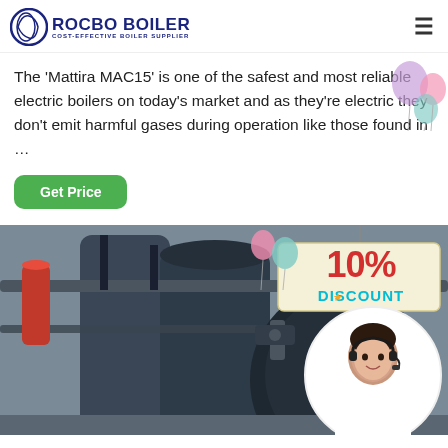ROCBO BOILER - COST-EFFECTIVE BOILER SUPPLIER
The 'Mattira MAC15' is one of the safest and most reliable electric boilers on today's market and as they're electric they don't emit harmful gases during operation like those found in …
Get Price
[Figure (photo): Industrial boiler room showing large dark cylindrical boilers with pipes and yellow gas lines, with a 10% DISCOUNT badge overlay in the top right and a customer service representative in a circular inset at the bottom right]